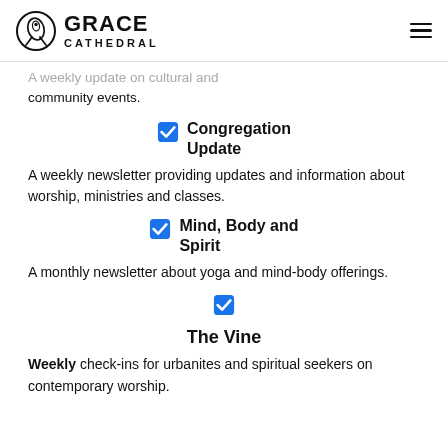Grace Cathedral
A weekly update on cultural and community events.
Congregation Update
A weekly newsletter providing updates and information about worship, ministries and classes.
Mind, Body and Spirit
A monthly newsletter about yoga and mind-body offerings.
The Vine
Weekly check-ins for urbanites and spiritual seekers on contemporary worship.